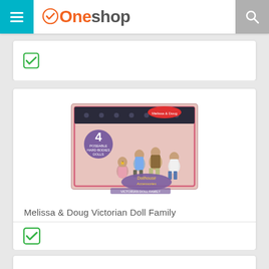Oneshop
[Figure (screenshot): Oneshop app screenshot showing a product card for Melissa & Doug Victorian Doll Family with a product image of four dolls in a box labeled Dollhouse Accessories Victorian Doll Family, and green checkmark icons]
Melissa & Doug Victorian Doll Family